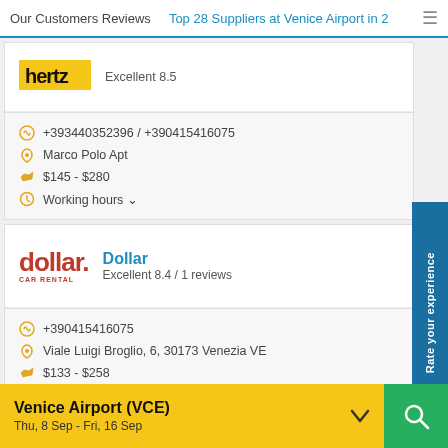Our Customers Reviews | Top 28 Suppliers at Venice Airport in 2
[Figure (screenshot): Hertz car rental logo (yellow background with dark text)]
Excellent 8.5
+393440352396 / +390415416075
Marco Polo Apt
$145 - $280
Working hours ∨
[Figure (logo): Dollar Car Rental logo in red]
Dollar
Excellent 8.4 / 1 reviews
+390415416075
Viale Luigi Broglio, 6, 30173 Venezia VE
$133 - $258
Working hours ∨
Rate your experience
Venice Airport (VCE) Thu, 8 Sep - Fri, 16 Sep